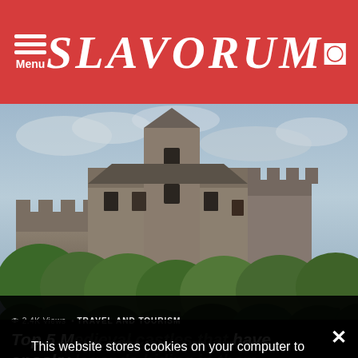SLAVORUM
[Figure (photo): A medieval stone castle with a tall tower, sitting on a hill surrounded by green trees, overcast sky.]
TRAVEL AND TOURISM
Top 5 Medieval Castles that have spooky legends hiding in them
Slovakia – is a country with turbulent history and those who are fond of mysteries and […] MORE
This website stores cookies on your computer to improve our website and provide personalized services to you. To find out more see our Privacy Policy.
Privacy Preferences
I Agree